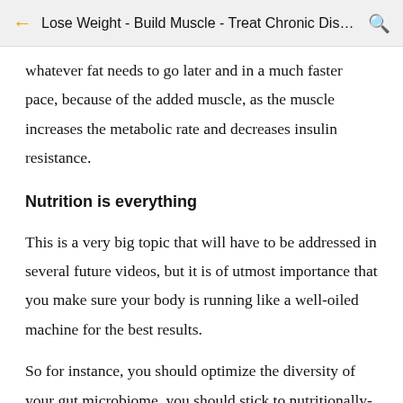Lose Weight - Build Muscle - Treat Chronic Dise...
whatever fat needs to go later and in a much faster pace, because of the added muscle, as the muscle increases the metabolic rate and decreases insulin resistance.
Nutrition is everything
This is a very big topic that will have to be addressed in several future videos, but it is of utmost importance that you make sure your body is running like a well-oiled machine for the best results.
So for instance, you should optimize the diversity of your gut microbiome, you should stick to nutritionally-dense